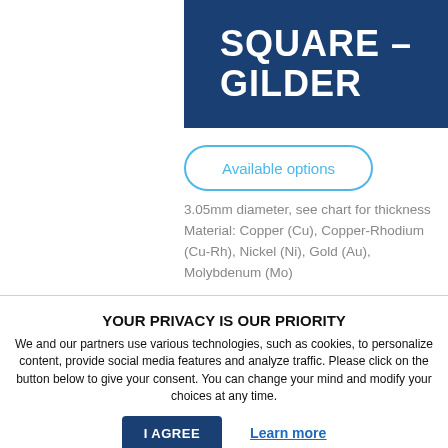SQUARE – GILDER
Available options
3.05mm diameter, see chart for thickness Material: Copper (Cu), Copper-Rhodium (Cu-Rh), Nickel (Ni), Gold (Au), Molybdenum (Mo)
YOUR PRIVACY IS OUR PRIORITY
We and our partners use various technologies, such as cookies, to personalize content, provide social media features and analyze traffic. Please click on the button below to give your consent. You can change your mind and modify your choices at any time.
I AGREE
Learn more